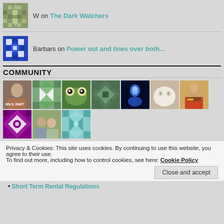W on The Dark Watchers
Barbars on Power out and lines over both...
COMMUNITY
[Figure (photo): Community member avatars grid: 10 small avatar images arranged in two rows]
Privacy & Cookies: This site uses cookies. By continuing to use this website, you agree to their use. To find out more, including how to control cookies, see here: Cookie Policy
Close and accept
Short Term Rental Regulations